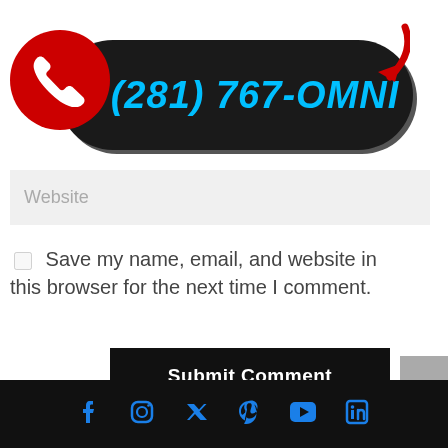[Figure (infographic): Phone number banner with red circle phone icon, dark pill-shaped background, cyan bold text reading (281) 767-OMNI, and red arrow pointing to the number]
Website
Save my name, email, and website in this browser for the next time I comment.
Submit Comment
Social media icons: Facebook, Instagram, Twitter, Pinterest, YouTube, LinkedIn